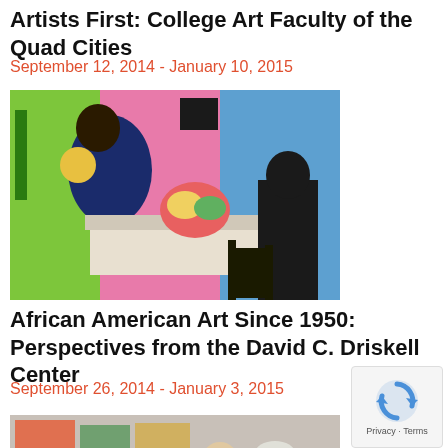Artists First: College Art Faculty of the Quad Cities
September 12, 2014 - January 10, 2015
[Figure (photo): Colorful painting showing figures around a table with flowers, in an interior scene with bright colors (pink, blue, green). African American figures depicted.]
African American Art Since 1950: Perspectives from the David C. Driskell Center
September 26, 2014 - January 3, 2015
[Figure (photo): Photograph of a group of people at an art exhibition or gallery opening, with artwork visible in the background.]
[Figure (other): reCAPTCHA widget showing robot icon with Privacy and Terms links.]